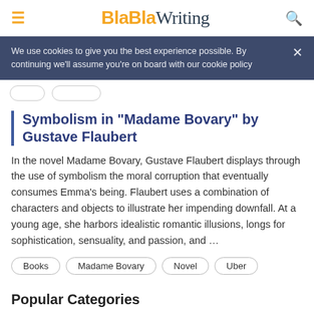BlaBlaWriting
We use cookies to give you the best experience possible. By continuing we'll assume you're on board with our cookie policy
Symbolism in "Madame Bovary" by Gustave Flaubert
In the novel Madame Bovary, Gustave Flaubert displays through the use of symbolism the moral corruption that eventually consumes Emma's being. Flaubert uses a combination of characters and objects to illustrate her impending downfall. At a young age, she harbors idealistic romantic illusions, longs for sophistication, sensuality, and passion, and …
Books
Madame Bovary
Novel
Uber
Popular Categories